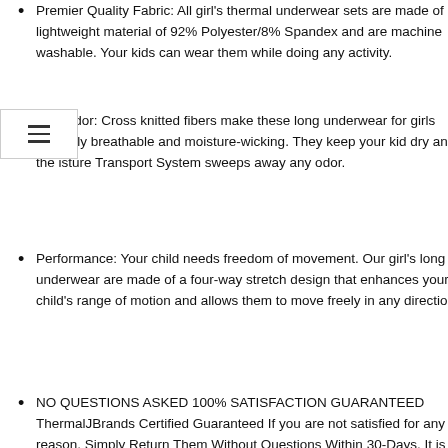Premier Quality Fabric: All girl's thermal underwear sets are made of a lightweight material of 92% Polyester/8% Spandex and are machine washable. Your kids can wear them while doing any activity.
Anti-Odor: Cross knitted fibers make these long underwear for girls naturally breathable and moisture-wicking. They keep your kid dry and the isture Transport System sweeps away any odor.
Performance: Your child needs freedom of movement. Our girl's long underwear are made of a four-way stretch design that enhances your child's range of motion and allows them to move freely in any direction.
NO QUESTIONS ASKED 100% SATISFACTION GUARANTEED ThermalJBrands Certified Guaranteed If you are not satisfied for any reason, Simply Return Them Without Questions Within 30-Days. It is that simple, Select Your Favorite Color and “Add to Cart” now
thermal underwear for kids
Package Dimensions: 11.02 x 1.45 x 1.28 inches; 8.04 Ounces
Item model number: J-T-G-1836
Type: thermal underwear for kids